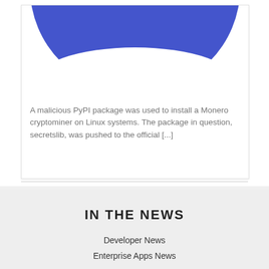[Figure (illustration): Partial blue and white curved logo/graphic, blue circle partially visible at top of card]
A malicious PyPI package was used to install a Monero cryptominer on Linux systems. The package in question, secretslib, was pushed to the official [...]
IN THE NEWS
Developer News
Enterprise Apps News